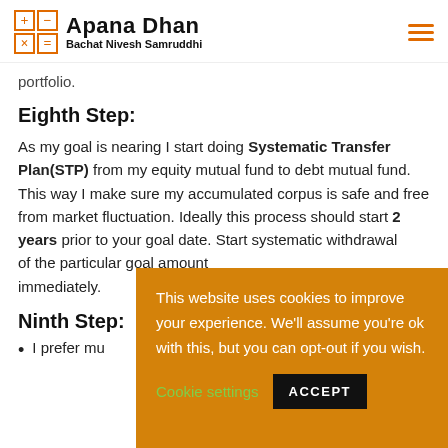Apana Dhan — Bachat Nivesh Samruddhi
portfolio.
Eighth Step:
As my goal is nearing I start doing Systematic Transfer Plan(STP) from my equity mutual fund to debt mutual fund. This way I make sure my accumulated corpus is safe and free from market fluctuation. Ideally this process should start 2 years prior to you[r goal date. Start systematic withdrawal of the particular g[oal amount] immediately.
Ninth Step:
I prefer mu[tual funds…]